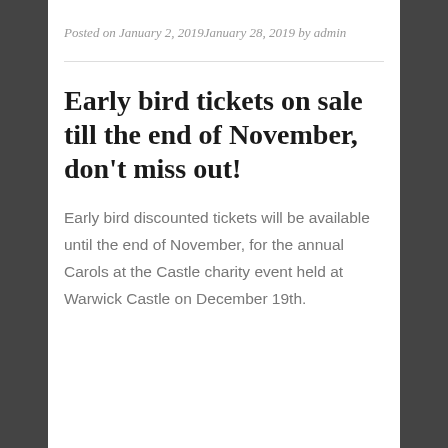Posted on January 2, 2019January 28, 2019 by admin
Early bird tickets on sale till the end of November, don't miss out!
Early bird discounted tickets will be available until the end of November, for the annual Carols at the Castle charity event held at Warwick Castle on December 19th.